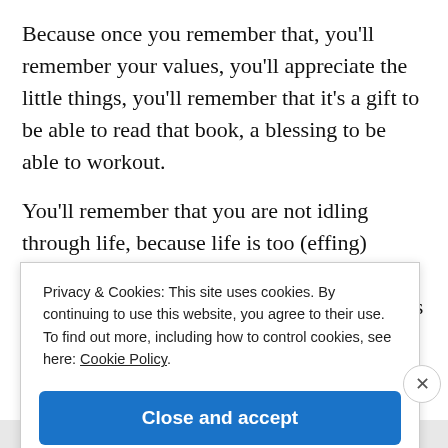Because once you remember that, you'll remember your values, you'll appreciate the little things, you'll remember that it's a gift to be able to read that book, a blessing to be able to workout.
You'll remember that you are not idling through life, because life is too (effing) awesome for that. There is too much greatness in each day to idle, too many things to learn and people to meet. Too many goals to be.
Privacy & Cookies: This site uses cookies. By continuing to use this website, you agree to their use. To find out more, including how to control cookies, see here: Cookie Policy
Close and accept